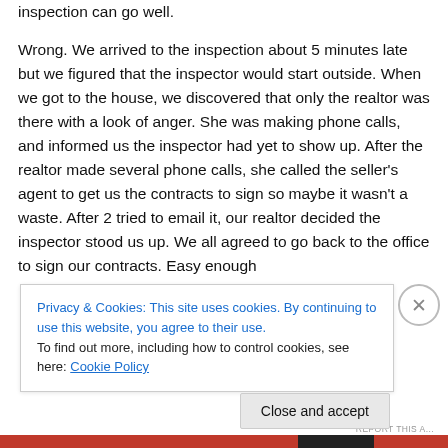inspection can go well.

Wrong. We arrived to the inspection about 5 minutes late but we figured that the inspector would start outside. When we got to the house, we discovered that only the realtor was there with a look of anger. She was making phone calls, and informed us the inspector had yet to show up. After the realtor made several phone calls, she called the seller's agent to get us the contracts to sign so maybe it wasn't a waste. After 2 tried to email it, our realtor decided the inspector stood us up. We all agreed to go back to the office to sign our contracts. Easy enough
Privacy & Cookies: This site uses cookies. By continuing to use this website, you agree to their use.
To find out more, including how to control cookies, see here: Cookie Policy